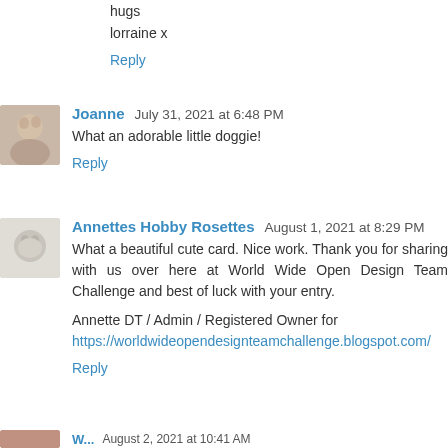hugs
lorraine x
Reply
Joanne   July 31, 2021 at 6:48 PM
What an adorable little doggie!
Reply
Annettes Hobby Rosettes   August 1, 2021 at 8:29 PM
What a beautiful cute card. Nice work. Thank you for sharing with us over here at World Wide Open Design Team Challenge and best of luck with your entry.
Annette DT / Admin / Registered Owner for https://worldwideopendesignteamchallenge.blogspot.com/
Reply